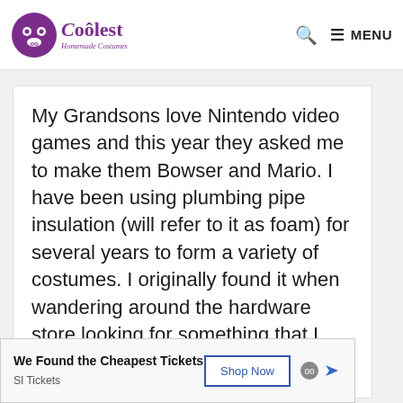Coolest Homemade Costumes — MENU
My Grandsons love Nintendo video games and this year they asked me to make them Bowser and Mario. I have been using plumbing pipe insulation (will refer to it as foam) for several years to form a variety of costumes. I originally found it when wandering around the hardware store looking for something that I … Read more
We Found the Cheapest Tickets — Shop Now — SI Tickets